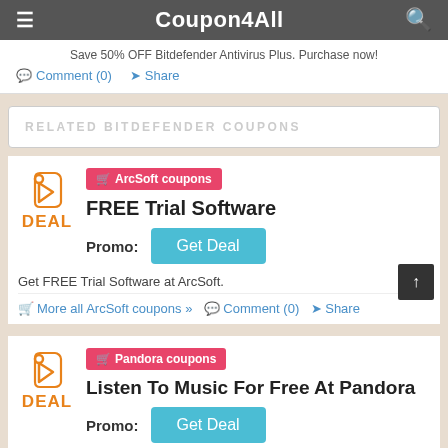Coupon4All
Save 50% OFF Bitdefender Antivirus Plus. Purchase now!
Comment (0)  Share
RELATED BITDEFENDER COUPONS
[Figure (logo): Orange tag/deal icon with DEAL label]
ArcSoft coupons
FREE Trial Software
Promo:  Get Deal
Get FREE Trial Software at ArcSoft.
More all ArcSoft coupons »  Comment (0)  Share
[Figure (logo): Orange tag/deal icon with DEAL label]
Pandora coupons
Listen To Music For Free At Pandora
Promo:  Get Deal